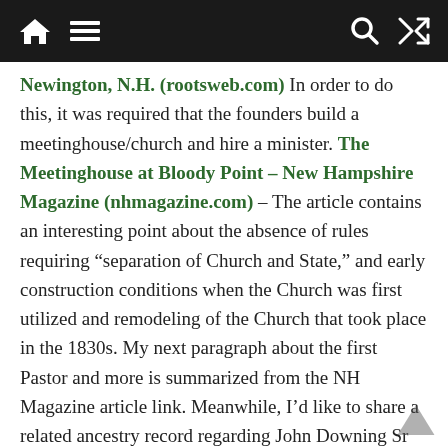Navigation bar with home, menu, search, and shuffle icons
Newington, N.H. (rootsweb.com) In order to do this, it was required that the founders build a meetinghouse/church and hire a minister. The Meetinghouse at Bloody Point – New Hampshire Magazine (nhmagazine.com) – The article contains an interesting point about the absence of rules requiring “separation of Church and State,” and early construction conditions when the Church was first utilized and remodeling of the Church that took place in the 1830s. My next paragraph about the first Pastor and more is summarized from the NH Magazine article link. Meanwhile, I’d like to share a related ancestry record regarding John Downing Sr mentioned in the same article and his son John Downing. Alternatively known as Colonel and Captain, John Downing, Sr. and his family reportedly enjoyed wealth and influence in the early years of the Church. The family owned a pew with a window view in